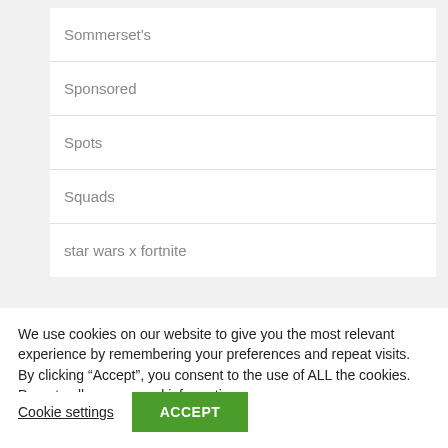Sommerset's
Sponsored
Spots
Squads
star wars x fortnite
We use cookies on our website to give you the most relevant experience by remembering your preferences and repeat visits. By clicking “Accept”, you consent to the use of ALL the cookies. Do not sell my personal information.
Cookie settings  ACCEPT